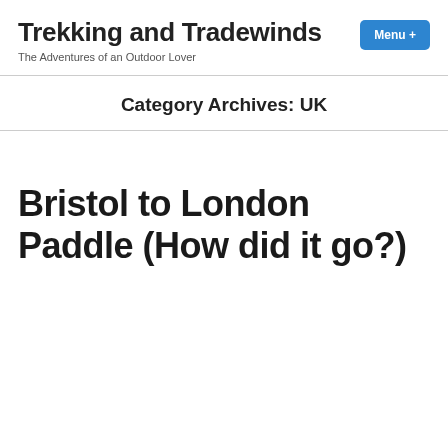Trekking and Tradewinds
The Adventures of an Outdoor Lover
Category Archives: UK
Bristol to London Paddle (How did it go?)